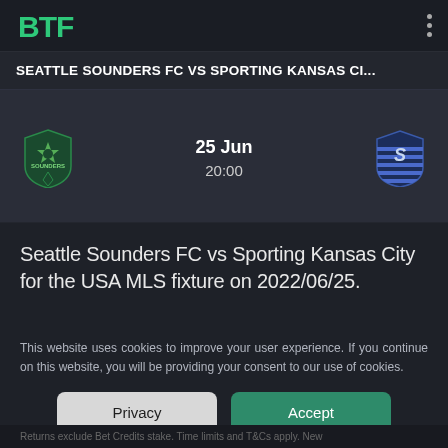BTF
SEATTLE SOUNDERS FC VS SPORTING KANSAS CI...
[Figure (infographic): Match card showing Seattle Sounders FC vs Sporting Kansas City on 25 Jun at 20:00, with team logos on each side]
Seattle Sounders FC vs Sporting Kansas City for the USA MLS fixture on 2022/06/25.
This website uses cookies to improve your user experience. If you continue on this website, you will be providing your consent to our use of cookies.
Returns exclude Bet Credits stake. Time limits and T&Cs apply. New